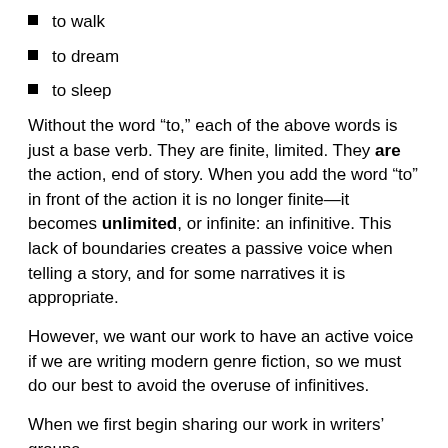to walk
to dream
to sleep
Without the word “to,” each of the above words is just a base verb. They are finite, limited. They are the action, end of story. When you add the word “to” in front of the action it is no longer finite—it becomes unlimited, or infinite: an infinitive. This lack of boundaries creates a passive voice when telling a story, and for some narratives it is appropriate.
However, we want our work to have an active voice if we are writing modern genre fiction, so we must do our best to avoid the overuse of infinitives.
When we first begin sharing our work in writers’ groups, we may have just a few of the overuse of infinitives.